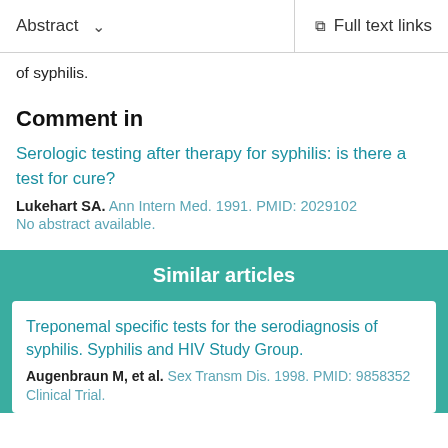Abstract  ∨   Full text links
of syphilis.
Comment in
Serologic testing after therapy for syphilis: is there a test for cure?
Lukehart SA. Ann Intern Med. 1991. PMID: 2029102
No abstract available.
Similar articles
Treponemal specific tests for the serodiagnosis of syphilis. Syphilis and HIV Study Group.
Augenbraun M, et al. Sex Transm Dis. 1998. PMID: 9858352
Clinical Trial.